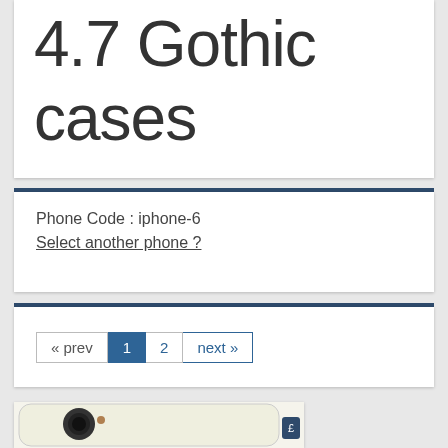4.7 Gothic cases
Phone Code : iphone-6
Select another phone ?
« prev  1  2  next »
[Figure (photo): White iPhone 6 phone case showing the back with camera cutout, held or displayed at an angle]